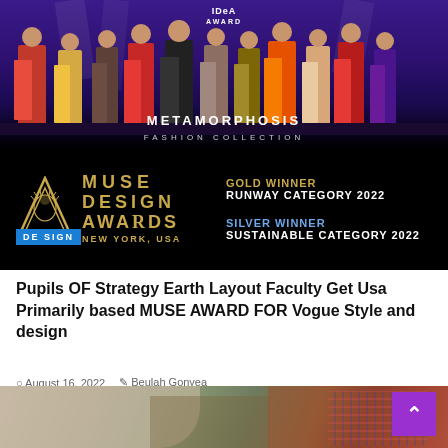[Figure (photo): Fashion show stage banner with models in colorful gowns on a purple-lit stage. Text overlay reads METAMORPHOSIS FASHION COLLECTION. Bottom section is black with Muse Design Awards New York USA logo (gold triangle with face), and award text: GOLD WINNER RUNWAY CATEGORY 2022, SILVER WINNER SUSTAINABLE CATEGORY 2022. Blue tag reading DESIGN at bottom left.]
Pupils OF Strategy Earth Layout Faculty Get Usa Primarily based MUSE AWARD FOR Vogue Style and design
August 16, 2022   Beulah Gonyea
[Figure (photo): Bottom partial photo showing a person in casual clothes (cream sweater/shirt and plaid) outdoors in a garden setting.]